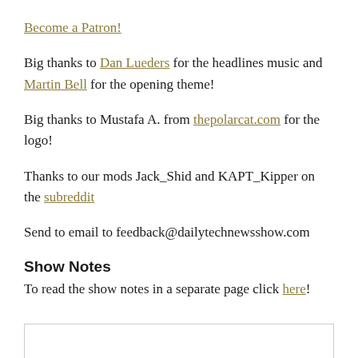Become a Patron!
Big thanks to Dan Lueders for the headlines music and Martin Bell for the opening theme!
Big thanks to Mustafa A. from thepolarcat.com for the logo!
Thanks to our mods Jack_Shid and KAPT_Kipper on the subreddit
Send to email to feedback@dailytechnewsshow.com
Show Notes
To read the show notes in a separate page click here!